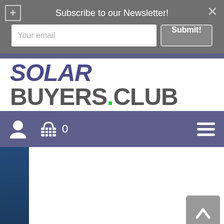Subscribe to our Newsletter!
[Figure (screenshot): Newsletter subscription bar with email input field showing placeholder 'Your email' and a 'Submit!' button, plus a plus icon and close (X) button]
[Figure (logo): Solar Buyers.Club logo with SOLAR in bold italic dark blue/purple, BUYERS.CLUB in dark gray with a green dot before CLUB]
[Figure (screenshot): Purple navigation bar with user icon, shopping basket icon with count 0, and hamburger menu icon on the right]
[Figure (screenshot): Page content area showing a dark blue left sidebar strip and mostly white content area with a gray back-to-top arrow button in the bottom right corner]